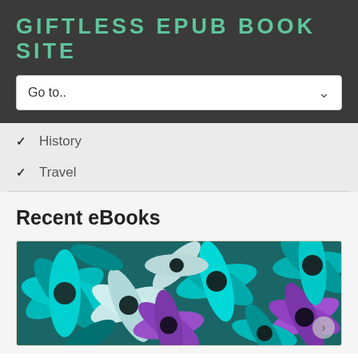GIFTLESS EPUB BOOK SITE
Go to..
✓ History
✓ Travel
Recent eBooks
[Figure (photo): Colorful flowers in teal, purple, and white tones filling the entire frame]